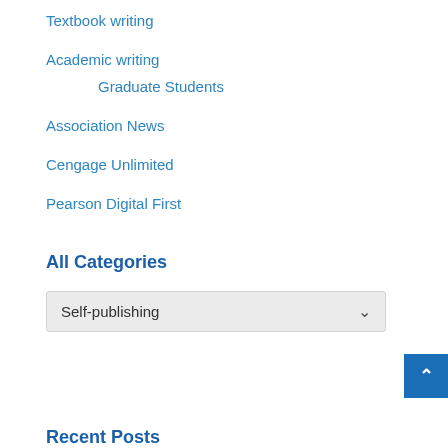Textbook writing
Academic writing
Graduate Students
Association News
Cengage Unlimited
Pearson Digital First
All Categories
Self-publishing
Recent Posts